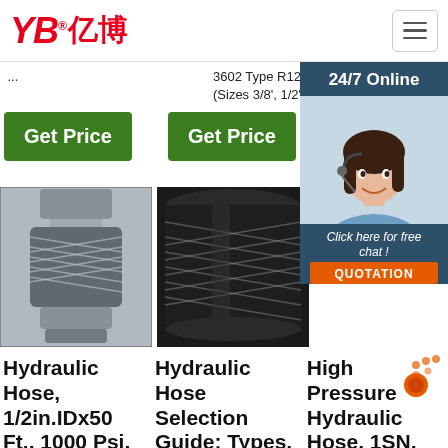[Figure (logo): YB亿博 company logo in red italic with registered trademark symbol]
...
3602 Type R12: (Sizes 3/8', 1/2' a ...
24/7 Online
Get Price
Get Price
[Figure (photo): Close-up photo of a hydraulic hose with metal fittings and wire braid visible]
[Figure (photo): Close-up photo of a black rubber hydraulic hose with wire reinforcement]
[Figure (photo): Photo of a customer service representative with headset, 24/7 online chat widget]
Click here for free chat !
QUOTATION
Hydraulic Hose, 1/2in.IDx50 Ft., 1000 Psi,
Hydraulic Hose Selection Guide: Types,
High Pressure Hydraulic Hose, 1SN, 2SN, 4SP, 4SH,